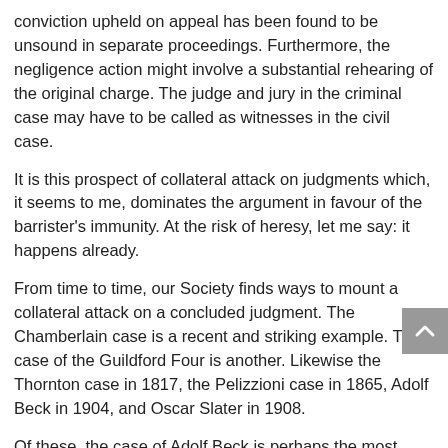conviction upheld on appeal has been found to be unsound in separate proceedings. Furthermore, the negligence action might involve a substantial rehearing of the original charge. The judge and jury in the criminal case may have to be called as witnesses in the civil case.
It is this prospect of collateral attack on judgments which, it seems to me, dominates the argument in favour of the barrister's immunity. At the risk of heresy, let me say: it happens already.
From time to time, our Society finds ways to mount a collateral attack on a concluded judgment. The Chamberlain case is a recent and striking example. The case of the Guildford Four is another. Likewise the Thornton case in 1817, the Pelizzioni case in 1865, Adolf Beck in 1904, and Oscar Slater in 1908.
Of these, the case of Adolf Beck is perhaps the most